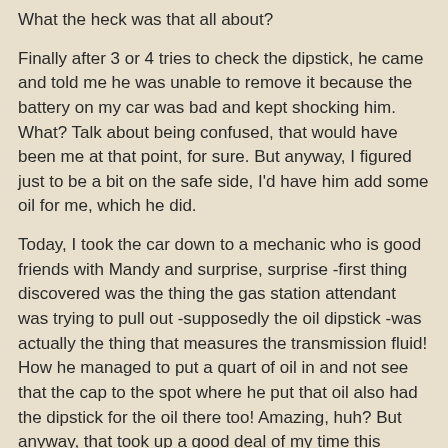What the heck was that all about?
Finally after 3 or 4 tries to check the dipstick, he came and told me he was unable to remove it because the battery on my car was bad and kept shocking him. What? Talk about being confused, that would have been me at that point, for sure. But anyway, I figured just to be a bit on the safe side, I'd have him add some oil for me, which he did.
Today, I took the car down to a mechanic who is good friends with Mandy and surprise, surprise -first thing discovered was the thing the gas station attendant was trying to pull out -supposedly the oil dipstick -was actually the thing that measures the transmission fluid! How he managed to put a quart of oil in and not see that the cap to the spot where he put that oil also had the dipstick for the oil there too! Amazing, huh? But anyway, that took up a good deal of my time this morning then as I then had to run into town so as to purchase more oil -3 quarts to give to Mandy's friend for having dumped that much oil into my car and an extra 2 quarts for me to put more oil then too into my buggy!